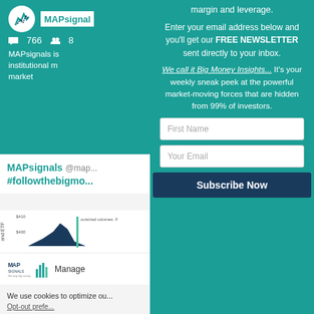[Figure (screenshot): MAPsignals profile header with teal background, logo circle, site name, Twitter stats (766 followers), bio text about institutional market]
MAPsignals @map...
#followthebigmo...
[Figure (screenshot): Partial chart showing outsized volumes with blue mountain chart and green annotation]
[Figure (logo): MAP Signals logo with teal bar chart icon and text 'We map big money']
Manage ...
We use cookies to optimize ou...
Opt-out prefe...
margin and leverage.
Enter your email address below and you'll get our FREE NEWSLETTER sent directly to your inbox.
We call it Big Money Insights... It's your weekly sneak peek at the powerful market-moving forces that are hidden from 99% of investors.
First Name
Your Email
Subscribe Now